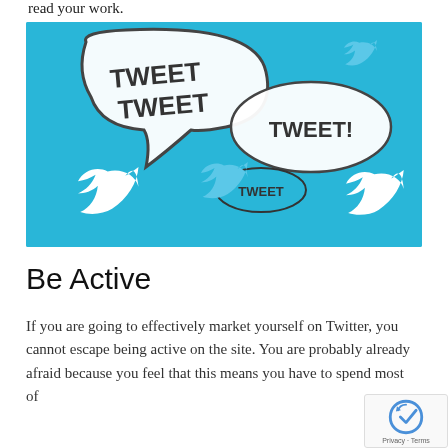read your work.
[Figure (illustration): Twitter-themed illustration on cyan/blue background with speech bubbles saying 'TWEET TWEET', 'TWEET!', and 'TWEET', with multiple Twitter bird logos in white and light blue.]
Be Active
If you are going to effectively market yourself on Twitter, you cannot escape being active on the site. You are probably already afraid because you feel that this means you have to spend most of